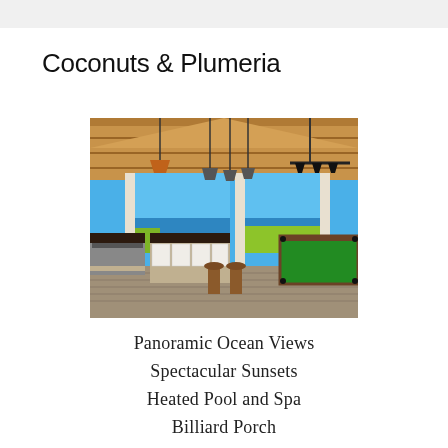Coconuts & Plumeria
[Figure (photo): Open-air covered deck/pavilion with wooden beam ceiling, pendant lights, outdoor kitchen with dark countertops and white cabinets, bar stools, a billiard/pool table on the right, and panoramic ocean and tropical landscape views in the background.]
Panoramic Ocean Views
Spectacular Sunsets
Heated Pool and Spa
Billiard Porch